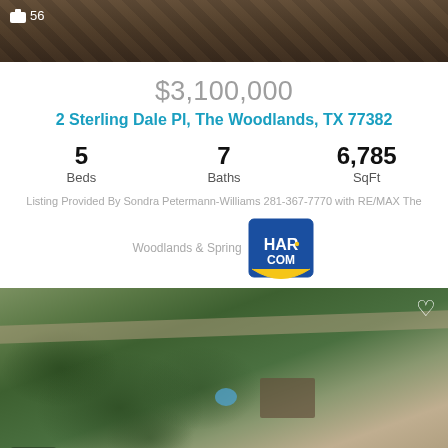[Figure (photo): Aerial/roof photo of property, dark shingles visible at top of page]
56
$3,100,000
2 Sterling Dale Pl, The Woodlands, TX 77382
5
Beds
7
Baths
6,785
SqFt
Listing Provided By Sondra Petermann-Williams 281-367-7770 with RE/MAX The Woodlands & Spring
[Figure (logo): HAR.COM logo — blue square with white HAR.COM text and yellow arc at bottom]
[Figure (photo): Aerial drone photo of property lot surrounded by trees, showing house, pool, and surrounding neighborhood]
11